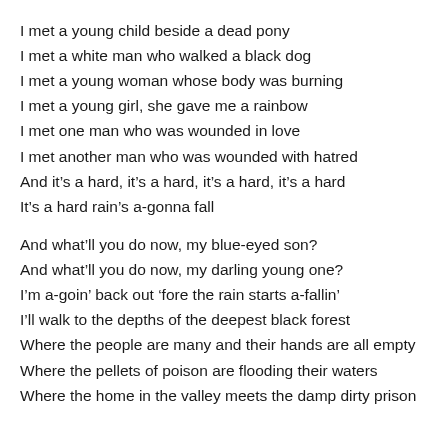I met a young child beside a dead pony
I met a white man who walked a black dog
I met a young woman whose body was burning
I met a young girl, she gave me a rainbow
I met one man who was wounded in love
I met another man who was wounded with hatred
And it’s a hard, it’s a hard, it’s a hard, it’s a hard
It’s a hard rain’s a-gonna fall
And what’ll you do now, my blue-eyed son?
And what’ll you do now, my darling young one?
I’m a-goin’ back out ‘fore the rain starts a-fallin’
I’ll walk to the depths of the deepest black forest
Where the people are many and their hands are all empty
Where the pellets of poison are flooding their waters
Where the home in the valley meets the damp dirty prison